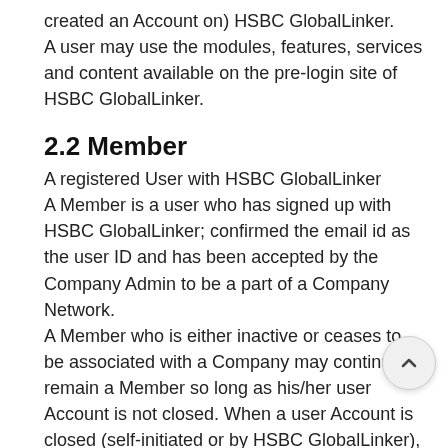created an Account on) HSBC GlobalLinker. A user may use the modules, features, services and content available on the pre-login site of HSBC GlobalLinker.
2.2 Member
A registered User with HSBC GlobalLinker
A Member is a user who has signed up with HSBC GlobalLinker; confirmed the email id as the user ID and has been accepted by the Company Admin to be a part of a Company Network.
A Member who is either inactive or ceases to be associated with a Company may continue to remain a Member so long as his/her user Account is not closed. When a user Account is closed (self-initiated or by HSBC GlobalLinker), such user ceases to remain a Member.
2.3 Your Company Network